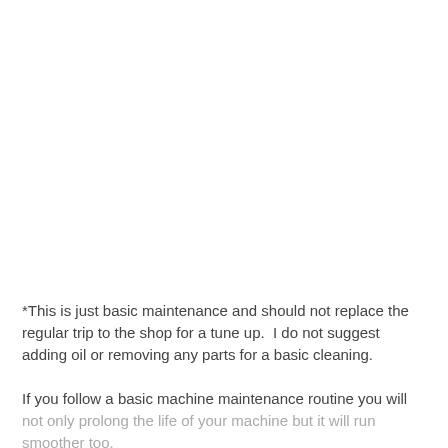*This is just basic maintenance and should not replace the regular trip to the shop for a tune up.  I do not suggest adding oil or removing any parts for a basic cleaning.
If you follow a basic machine maintenance routine you will not only prolong the life of your machine but it will run smoother too.